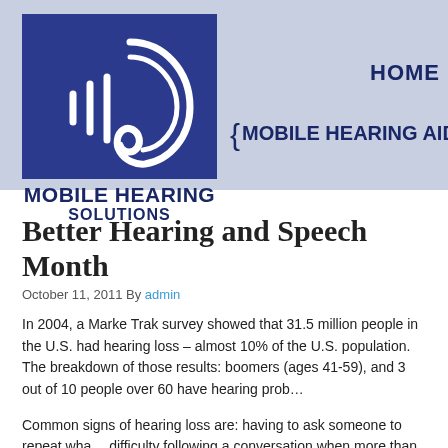[Figure (logo): Mobile Hearing Solutions logo: dark blue square with white ear and sound wave lines icon, text 'MOBILE HEARING SOLUTIONS' below]
HOME
{ MOBILE HEARING AID SER
Better Hearing and Speech Month
October 11, 2011 By admin
In 2004, a Marke Trak survey showed that 31.5 million people in the U.S. had hearing loss – almost 10% of the U.S. population. The breakdown of those results: boomers (ages 41-59), and 3 out of 10 people over 60 have hearing prob…
Common signs of hearing loss are: having to ask someone to repeat wha… difficulty following a conversation when more than one person is speaking… mumble when they speak; having difficulty hearing in noisy places like re… having trouble hearing children and/or women's voices; turning up the TV… your ears; or finding that you intently look at a person's face, or lips whe…